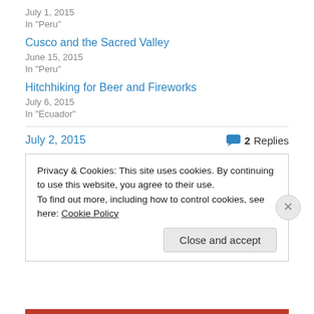July 1, 2015
In "Peru"
Cusco and the Sacred Valley
June 15, 2015
In "Peru"
Hitchhiking for Beer and Fireworks
July 6, 2015
In "Ecuador"
July 2, 2015
2 Replies
Privacy & Cookies: This site uses cookies. By continuing to use this website, you agree to their use. To find out more, including how to control cookies, see here: Cookie Policy
Close and accept